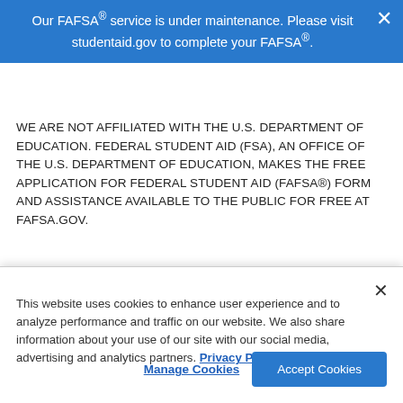Our FAFSA® service is under maintenance. Please visit studentaid.gov to complete your FAFSA®. ✕
WE ARE NOT AFFILIATED WITH THE U.S. DEPARTMENT OF EDUCATION. FEDERAL STUDENT AID (FSA), AN OFFICE OF THE U.S. DEPARTMENT OF EDUCATION, MAKES THE FREE APPLICATION FOR FEDERAL STUDENT AID (FAFSA®) FORM AND ASSISTANCE AVAILABLE TO THE PUBLIC FOR FREE AT FAFSA.GOV.
TARD, LLC, AKA "FRANK" AND "CHASE WITH FRANK" IS A...
This website uses cookies to enhance user experience and to analyze performance and traffic on our website. We also share information about your use of our site with our social media, advertising and analytics partners. Privacy Policy
Manage Cookies
Accept Cookies